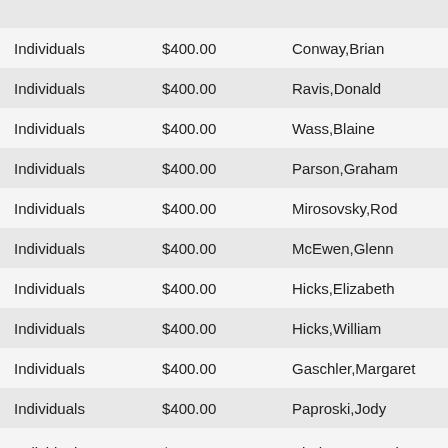| Type | Amount | Name |
| --- | --- | --- |
| Individuals | $400.00 | Conway,Brian |
| Individuals | $400.00 | Ravis,Donald |
| Individuals | $400.00 | Wass,Blaine |
| Individuals | $400.00 | Parson,Graham |
| Individuals | $400.00 | Mirosovsky,Rod |
| Individuals | $400.00 | McEwen,Glenn |
| Individuals | $400.00 | Hicks,Elizabeth |
| Individuals | $400.00 | Hicks,William |
| Individuals | $400.00 | Gaschler,Margaret |
| Individuals | $400.00 | Paproski,Jody |
| Individuals | $400.00 | Shaheen,Pamela |